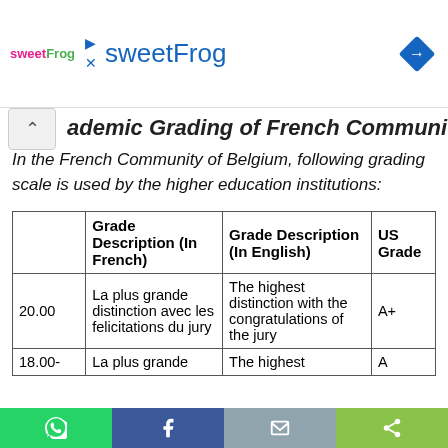sweetFrog
ademic Grading of French Community
In the French Community of Belgium, following grading scale is used by the higher education institutions:
| Scale | Grade Description (In French) | Grade Description (In English) | US Grade |
| --- | --- | --- | --- |
| 20.00 | La plus grande distinction avec les felicitations du jury | The highest distinction with the congratulations of the jury | A+ |
| 18.00- | La plus grande | The highest | A |